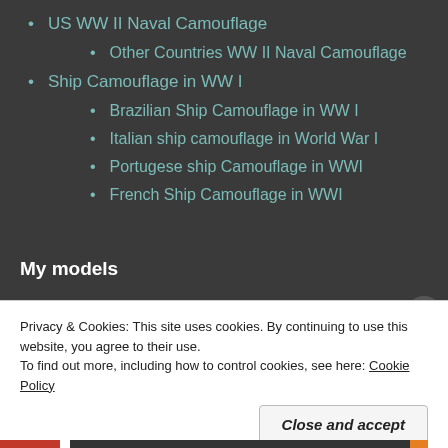US WW II Naval Camouflage
Other Countries WW II Naval Camouflage
Ship Camouflage in WW I
Brazilian Ship Camouflage in WW I
Italian ship camouflage in World War I
Portugese ship Camouflage in WWI
French Ship Camouflage in WWI
My models
Privacy & Cookies: This site uses cookies. By continuing to use this website, you agree to their use.
To find out more, including how to control cookies, see here: Cookie Policy
Close and accept